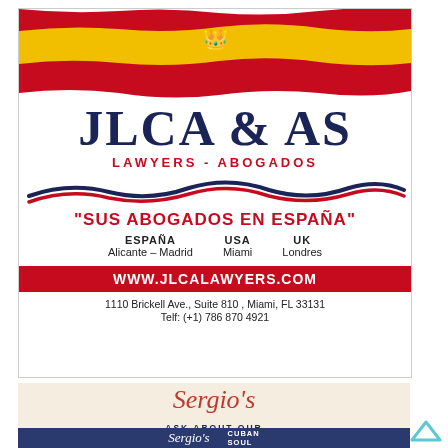[Figure (illustration): Spanish flag banner with red and yellow colors and coat of arms crest in center]
JLCA & AS
LAWYERS - ABOGADOS
[Figure (illustration): Decorative wave graphic in red and dark blue]
"SUS ABOGADOS EN ESPAÑA"
ESPAÑA  USA  UK
Alicante – Madrid  Miami  Londres
WWW.JLCALAWYERS.COM
1110 Brickell Ave., Suite 810 , Miami, FL 33131
Telf: (+1) 786 870 4921
[Figure (logo): Sergio's restaurant logo with cursive text]
ASK ABOUT OUR
HOME CATERING SERVICES
[Figure (photo): Sergio's restaurant exterior photo showing Cuban Soul signage]